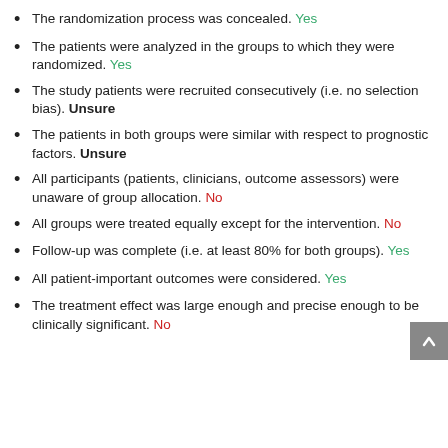The randomization process was concealed. Yes
The patients were analyzed in the groups to which they were randomized. Yes
The study patients were recruited consecutively (i.e. no selection bias). Unsure
The patients in both groups were similar with respect to prognostic factors. Unsure
All participants (patients, clinicians, outcome assessors) were unaware of group allocation. No
All groups were treated equally except for the intervention. No
Follow-up was complete (i.e. at least 80% for both groups). Yes
All patient-important outcomes were considered. Yes
The treatment effect was large enough and precise enough to be clinically significant. No